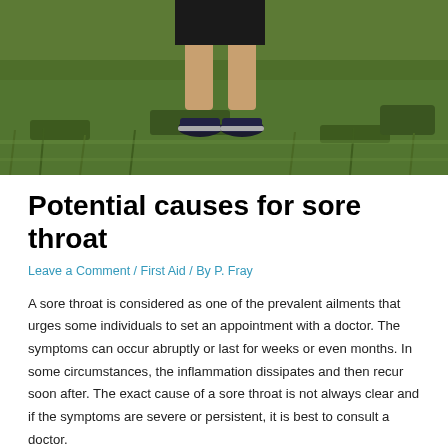[Figure (photo): Photo of a person's legs from the knees down, standing on green grass, wearing dark shorts and dark sneakers with white soles.]
Potential causes for sore throat
Leave a Comment / First Aid / By P. Fray
A sore throat is considered as one of the prevalent ailments that urges some individuals to set an appointment with a doctor. The symptoms can occur abruptly or last for weeks or even months. In some circumstances, the inflammation dissipates and then recur soon after. The exact cause of a sore throat is not always clear and if the symptoms are severe or persistent, it is best to consult a doctor.